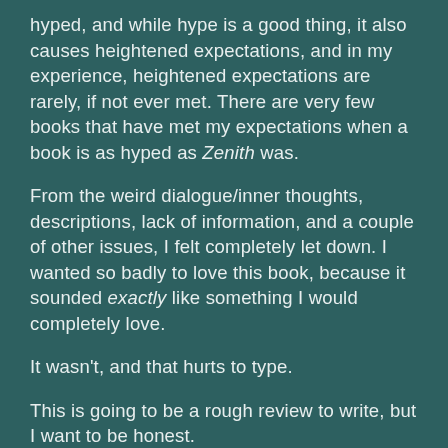hyped, and while hype is a good thing, it also causes heightened expectations, and in my experience, heightened expectations are rarely, if not ever met. There are very few books that have met my expectations when a book is as hyped as Zenith was.
From the weird dialogue/inner thoughts, descriptions, lack of information, and a couple of other issues, I felt completely let down. I wanted so badly to love this book, because it sounded exactly like something I would completely love.
It wasn't, and that hurts to type.
This is going to be a rough review to write, but I want to be honest.